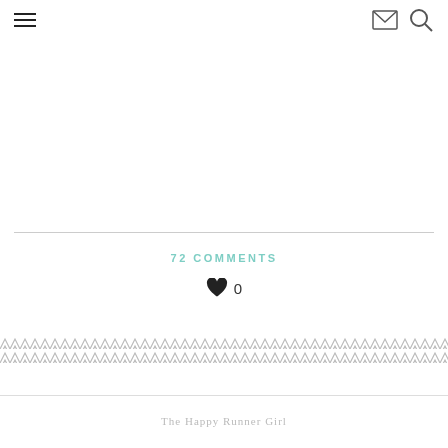Navigation header with hamburger menu, mail icon, and search icon
72 COMMENTS
♥ 0
[Figure (illustration): Decorative zigzag/chevron border divider pattern in light gray]
The Happy Runner Girl